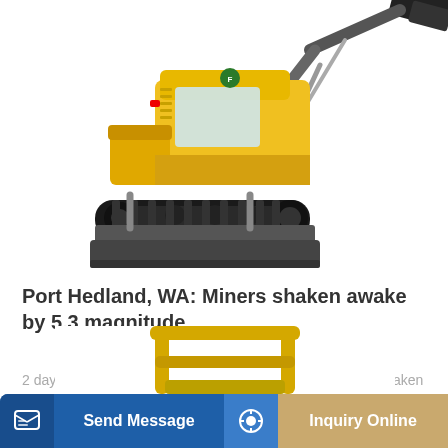[Figure (photo): Yellow mini excavator (XE600A PLUS model) with bucket arm raised, on rubber tracks with a front blade, photographed against white background.]
Port Hedland, WA: Miners shaken awake by 5.3 magnitude
2 days ago · Miners in a West Australian town have been shaken awake by a 5.3 magnitude earthquake prompting fears an explosion had caused the disruption. The ...
Learn More
[Figure (photo): Yellow construction equipment / compactor partially visible at bottom of page.]
Send Message
Inquiry Online